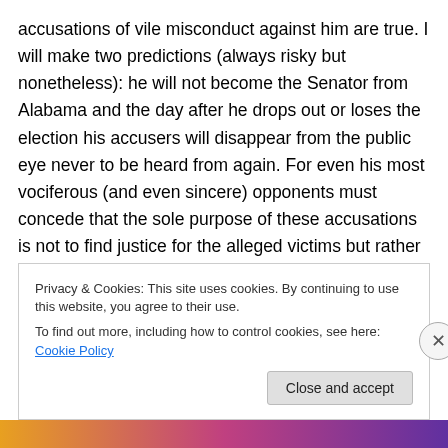accusations of vile misconduct against him are true. I will make two predictions (always risky but nonetheless): he will not become the Senator from Alabama and the day after he drops out or loses the election his accusers will disappear from the public eye never to be heard from again. For even his most vociferous (and even sincere) opponents must concede that the sole purpose of these accusations is not to find justice for the alleged victims but rather to achieve some petty, partisan political goal. But this is nothing new.
Privacy & Cookies: This site uses cookies. By continuing to use this website, you agree to their use.
To find out more, including how to control cookies, see here: Cookie Policy